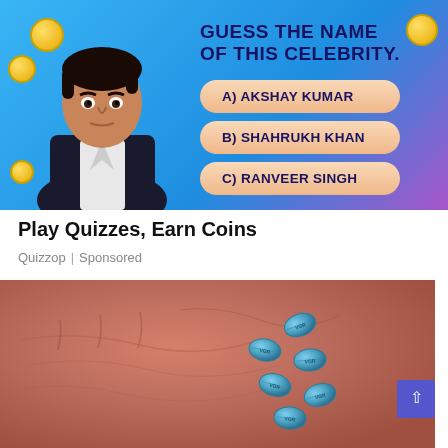[Figure (illustration): Advertisement image showing an animated Indian male celebrity figure on a blue background with gold coins, alongside answer buttons labeled A) AKSHAY KUMAR, B) SHAHRUKH KHAN, and partially visible C) RANVEER SINGH, with title text 'GUESS THE NAME OF THIS CELEBRITY.']
Play Quizzes, Earn Coins
Quizzop | Sponsored
[Figure (photo): Close-up photo of an elderly person's wrinkled hand holding several small blue diamond-shaped pills (resembling Viagra tablets).]